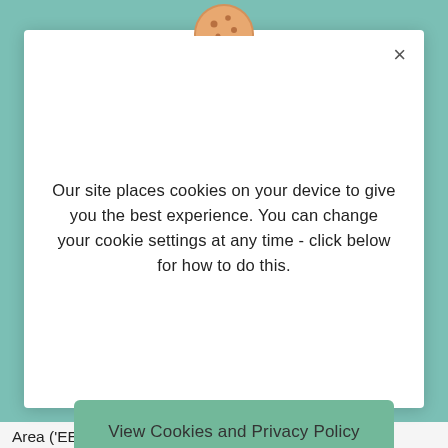[Figure (illustration): A cookie biscuit icon partially visible at the top center of the page, peeking above the modal dialog]
Our site places cookies on your device to give you the best experience. You can change your cookie settings at any time - click below for how to do this.
View Cookies and Privacy Policy
Area ('EEA') which may not have the same level